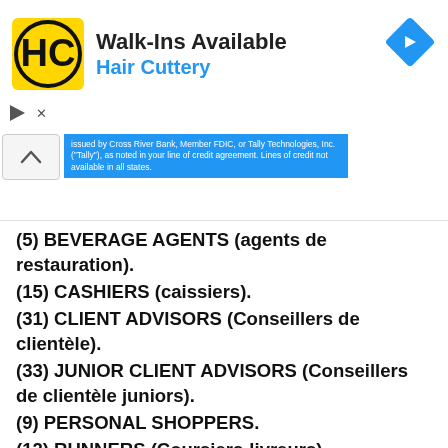[Figure (logo): Hair Cuttery advertisement banner with HC logo, Walk-Ins Available text, navigation arrow icon, and fine print about Cross River Bank]
(5) BEVERAGE AGENTS (agents de restauration).
(15) CASHIERS (caissiers).
(31) CLIENT ADVISORS (Conseillers de clientèle).
(33) JUNIOR CLIENT ADVISORS (Conseillers de clientèle juniors).
(9) PERSONAL SHOPPERS.
(12) RUNNERS (Coursiers-livreurs).
(15) STOCK KEEPERS (Magasiniers).
(20) SUPERVISORS (Superviseurs).